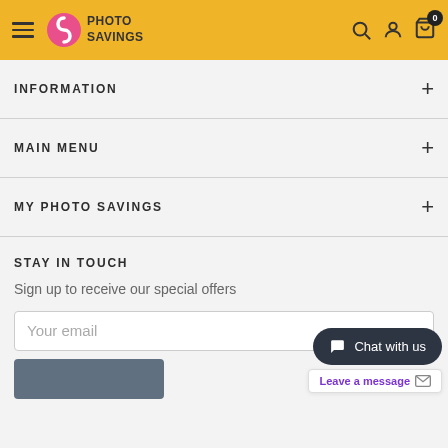Photo Savings — navigation header with hamburger menu, logo, search, account, and cart (0 items)
INFORMATION
MAIN MENU
MY PHOTO SAVINGS
STAY IN TOUCH
Sign up to receive our special offers
Your email
Chat with us
Leave a message